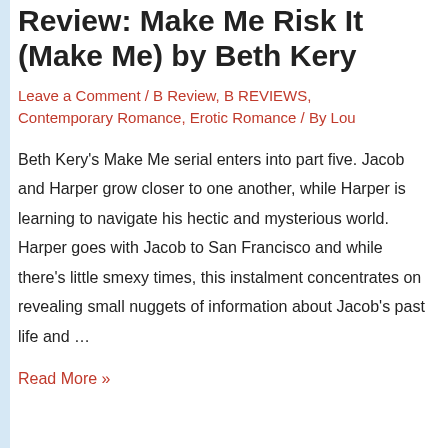Review: Make Me Risk It (Make Me) by Beth Kery
Leave a Comment / B Review, B REVIEWS, Contemporary Romance, Erotic Romance / By Lou
Beth Kery’s Make Me serial enters into part five. Jacob and Harper grow closer to one another, while Harper is learning to navigate his hectic and mysterious world. Harper goes with Jacob to San Francisco and while there’s little smexy times, this instalment concentrates on revealing small nuggets of information about Jacob’s past life and …
Read More »